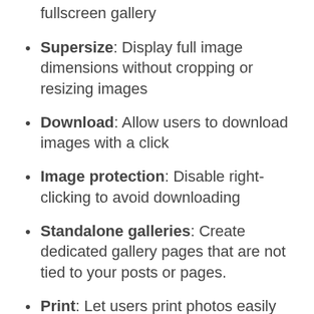fullscreen gallery
Supersize: Display full image dimensions without cropping or resizing images
Download: Allow users to download images with a click
Image protection: Disable right-clicking to avoid downloading
Standalone galleries: Create dedicated gallery pages that are not tied to your posts or pages.
Print: Let users print photos easily from your gallery
Slideshow: Create beautiful slideshows by controlling autoplay settings.